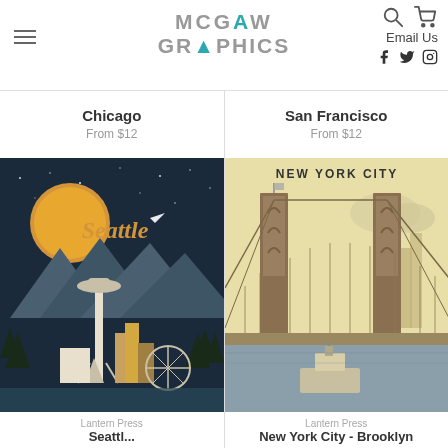[Figure (logo): McGaw Graphics logo with stylized 'A' in teal]
Chicago
From $12
San Francisco
From $12
[Figure (illustration): Lantern Press Seattle travel poster with Space Needle, mountains, and city skyline at night]
Lantern Press
Seattle
[Figure (illustration): Lantern Press New York City Brooklyn Bridge travel poster]
Lantern Press
New York City - Brooklyn